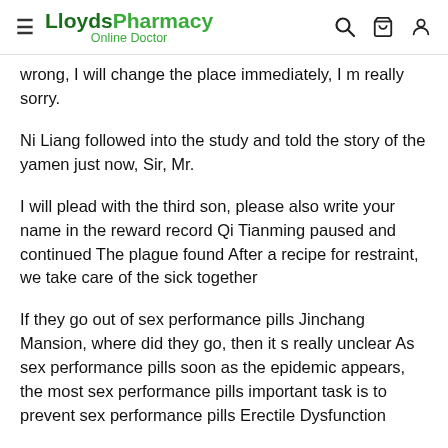LloydsPharmacy Online Doctor
wrong, I will change the place immediately, I m really sorry.
Ni Liang followed into the study and told the story of the yamen just now, Sir, Mr.
I will plead with the third son, please also write your name in the reward record Qi Tianming paused and continued The plague found After a recipe for restraint, we take care of the sick together
If they go out of sex performance pills Jinchang Mansion, where did they go, then it s really unclear As sex performance pills soon as the epidemic appears, the most sex performance pills important task is to prevent sex performance pills Erectile Dysfunction